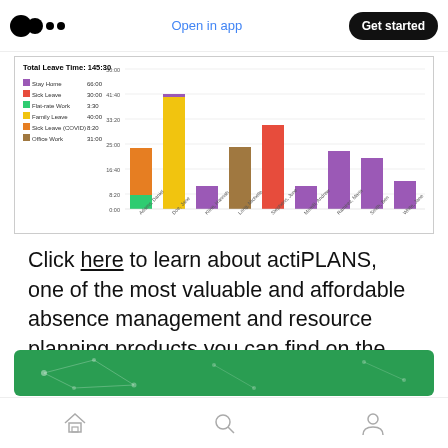Open in app | Get started
[Figure (stacked-bar-chart): Total Leave Time: 145:30]
Click here to learn about actiPLANS, one of the most valuable and affordable absence management and resource planning products you can find on the market today.
[Figure (illustration): Green banner with network/leaf pattern]
Home | Search | Profile